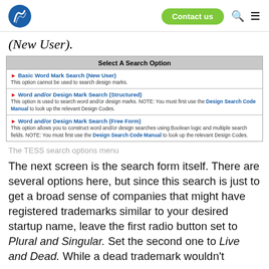(New User).
[Figure (screenshot): TESS search options menu showing: Select A Search Option table with three rows: Basic Word Mark Search (New User), Word and/or Design Mark Search (Structured), Word and/or Design Mark Search (Free Form)]
The TESS search options menu
The next screen is the search form itself. There are several options here, but since this search is just to get a broad sense of companies that might have registered trademarks similar to your desired startup name, leave the first radio button set to Plural and Singular. Set the second one to Live and Dead. While a dead trademark wouldn't